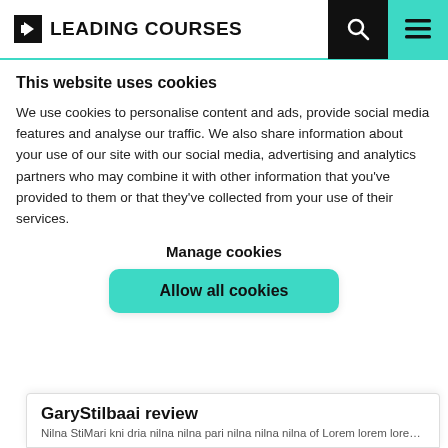LEADING COURSES
This website uses cookies
We use cookies to personalise content and ads, provide social media features and analyse our traffic. We also share information about your use of our site with our social media, advertising and analytics partners who may combine it with other information that you've provided to them or that they've collected from your use of their services.
Manage cookies
Allow all cookies
GaryStilbaai review